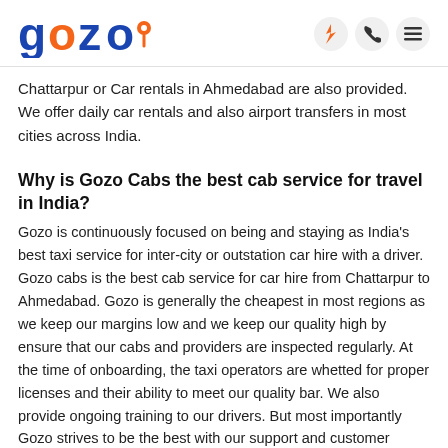gozo
Chattarpur or Car rentals in Ahmedabad are also provided. We offer daily car rentals and also airport transfers in most cities across India.
Why is Gozo Cabs the best cab service for travel in India?
Gozo is continuously focused on being and staying as India's best taxi service for inter-city or outstation car hire with a driver. Gozo cabs is the best cab service for car hire from Chattarpur to Ahmedabad. Gozo is generally the cheapest in most regions as we keep our margins low and we keep our quality high by ensure that our cabs and providers are inspected regularly. At the time of onboarding, the taxi operators are whetted for proper licenses and their ability to meet our quality bar. We also provide ongoing training to our drivers. But most importantly Gozo strives to be the best with our support and customer service. Gozo has great reviews on Google & TripAdvisor. Gozo was started with the focus of simplifying car hire for outstation trips and we specialize in one way cabs, round trip journeys and even multi city trips. Car rentals in